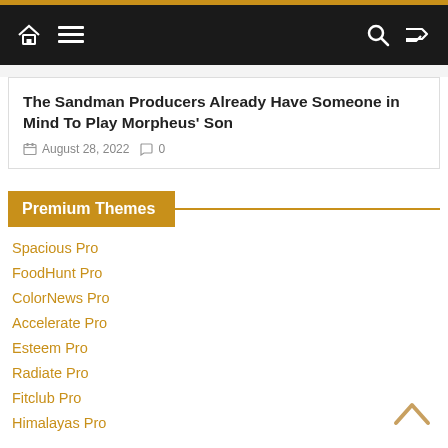Navigation bar with home, menu, search, and shuffle icons
The Sandman Producers Already Have Someone in Mind To Play Morpheus' Son
August 28, 2022  0
Premium Themes
Spacious Pro
FoodHunt Pro
ColorNews Pro
Accelerate Pro
Esteem Pro
Radiate Pro
Fitclub Pro
Himalayas Pro